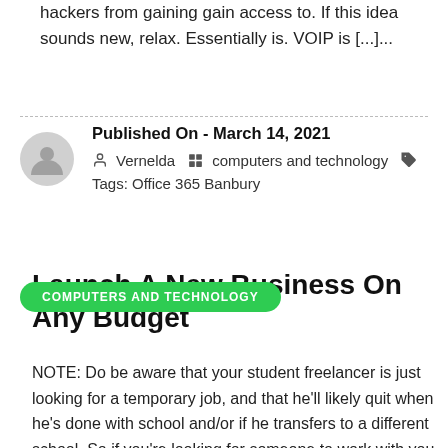hackers from gaining gain access to. If this idea sounds new, relax. Essentially is. VOIP is […]…
Published On - March 14, 2021
Vernelda   computers and technology
Tags: Office 365 Banbury
Launch A New Business On Any Budget
COMPUTERS AND TECHNOLOGY
NOTE: Do be aware that your student freelancer is just looking for a temporary job, and that he'll likely quit when he's done with school and/or if he transfers to a different school. So if you're looking for someone to work with you for years, this may